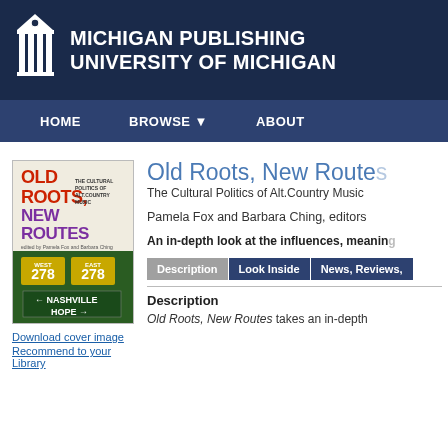Michigan Publishing University of Michigan
HOME  BROWSE  ABOUT
Old Roots, New Routes
The Cultural Politics of Alt.Country Music
Pamela Fox and Barbara Ching, editors
An in-depth look at the influences, meaning...
[Figure (photo): Book cover for Old Roots, New Routes: The Cultural Politics of Alt.Country Music, edited by Pamela Fox and Barbara Ching. Features road signs showing routes 278 West and 278 East and Nashville/Hope directional signs.]
Download cover image
Recommend to your Library
Description
Old Roots, New Routes takes an in-depth...